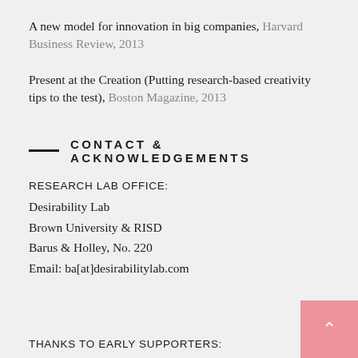A new model for innovation in big companies, Harvard Business Review, 2013
Present at the Creation (Putting research-based creativity tips to the test), Boston Magazine, 2013
CONTACT & ACKNOWLEDGEMENTS
RESEARCH LAB OFFICE:
Desirability Lab
Brown University & RISD
Barus & Holley, No. 220
Email: ba[at]desirabilitylab.com
THANKS TO EARLY SUPPORTERS: